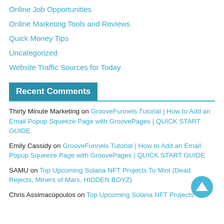Online Job Opportunities
Online Marketing Tools and Reviews
Quick Money Tips
Uncategorized
Website Traffic Sources for Today
Recent Comments
Thirty Minute Marketing on GrooveFunnels Tutorial | How to Add an Email Popup Squeeze Page with GroovePages | QUICK START GUIDE
Emily Cassidy on GrooveFunnels Tutorial | How to Add an Email Popup Squeeze Page with GroovePages | QUICK START GUIDE
SAMU on Top Upcoming Solana NFT Projects To Mint (Dead Rejects, Miners of Mars, HIDDEN BOYZ)
Chris Assimacopoulos on Top Upcoming Solana NFT Projects